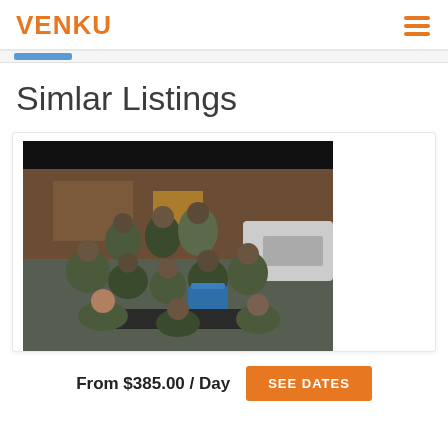VENKU
Simlar Listings
[Figure (photo): Group of hunters in camouflage clothing posing together outdoors near a truck and building, with hunting gear visible]
From $385.00 / Day  SEE DATES